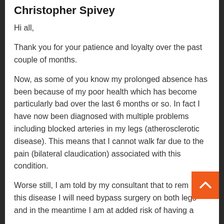Christopher Spivey
Hi all,
Thank you for your patience and loyalty over the past couple of months.
Now, as some of you know my prolonged absence has been because of my poor health which has become particularly bad over the last 6 months or so. In fact I have now been diagnosed with multiple problems including blocked arteries in my legs (atherosclerotic disease). This means that I cannot walk far due to the pain (bilateral claudication) associated with this condition.
Worse still, I am told by my consultant that to rem... this disease I will need bypass surgery on both legs and in the meantime I am at added risk of having a